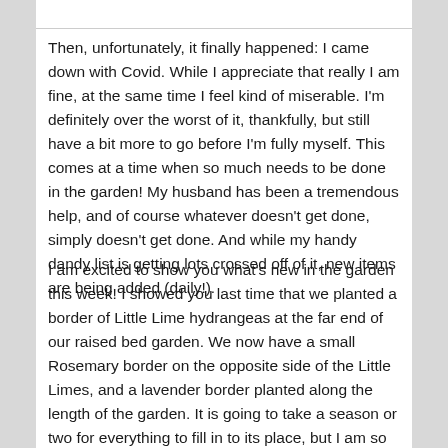Then, unfortunately, it finally happened: I came down with Covid. While I appreciate that really I am fine, at the same time I feel kind of miserable. I'm definitely over the worst of it, thankfully, but still have a bit more to go before I'm fully myself. This comes at a time when so much needs to be done in the garden! My husband has been a tremendous help, and of course whatever doesn't get done, simply doesn't get done. And while my handy dandy list is getting lots crossed off of it, new items are being added (daily!).
I am excited to show you what's new in the garden this week! I showed you last time that we planted a border of Little Lime hydrangeas at the far end of our raised bed garden. We now have a small Rosemary border on the opposite side of the Little Limes, and a lavender border planted along the length of the garden. It is going to take a season or two for everything to fill in to its place, but I am so happy with it. The next step is figuring out a system for dividing the hoggin from the mulch, but my husband is